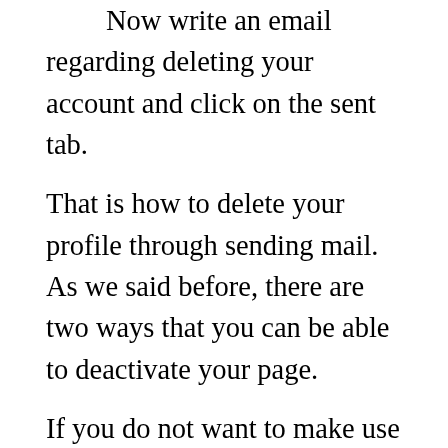Now write an email regarding deleting your account and click on the sent tab.
That is how to delete your profile through sending mail. As we said before, there are two ways that you can be able to deactivate your page.
If you do not want to make use of the steps above you can as well make use of the guidelines right below.
Cancel Your Profile via